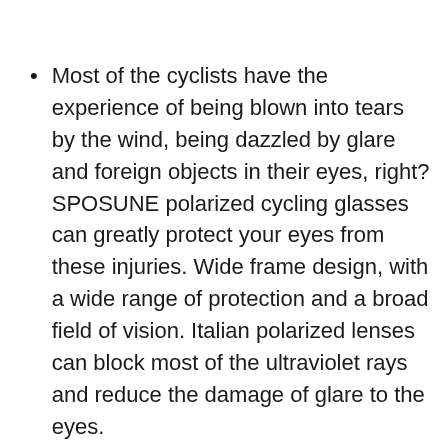Most of the cyclists have the experience of being blown into tears by the wind, being dazzled by glare and foreign objects in their eyes, right? SPOSUNE polarized cycling glasses can greatly protect your eyes from these injuries. Wide frame design, with a wide range of protection and a broad field of vision. Italian polarized lenses can block most of the ultraviolet rays and reduce the damage of glare to the eyes.
Everyone has their own unique face shape. Our sports glasses use flexible and durable TR90 frames with